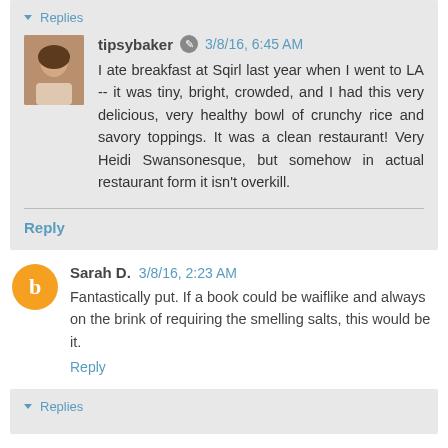▾ Replies
tipsybaker ✎ 3/8/16, 6:45 AM
I ate breakfast at Sqirl last year when I went to LA -- it was tiny, bright, crowded, and I had this very delicious, very healthy bowl of crunchy rice and savory toppings. It was a clean restaurant! Very Heidi Swansonesque, but somehow in actual restaurant form it isn't overkill.
Reply
Sarah D. 3/8/16, 2:23 AM
Fantastically put. If a book could be waiflike and always on the brink of requiring the smelling salts, this would be it.
Reply
▾ Replies